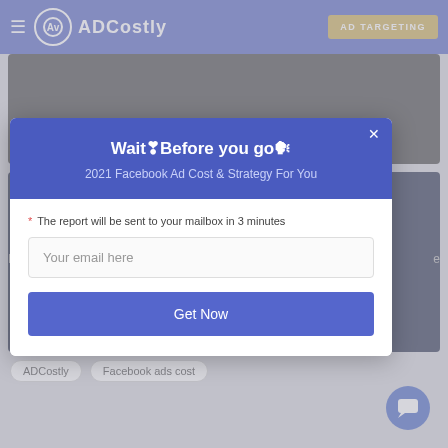ADCostly | AD TARGETING
Facebook Ad Benchmarks For Different Publishers
2020 Q1 Q2
[Figure (screenshot): Dark card background for second article section]
R ... e
ADCostly   Facebook ads cost
[Figure (other): Modal popup with email capture form. Title: Wait❣Before you go️. Subtitle: 2021 Facebook Ad Cost & Strategy For You. Note: The report will be sent to your mailbox in 3 minutes. Input: Your email here. Button: Get Now.]
Wait❣Before you go️
2021 Facebook Ad Cost & Strategy For You
* The report will be sent to your mailbox in 3 minutes
Your email here
Get Now